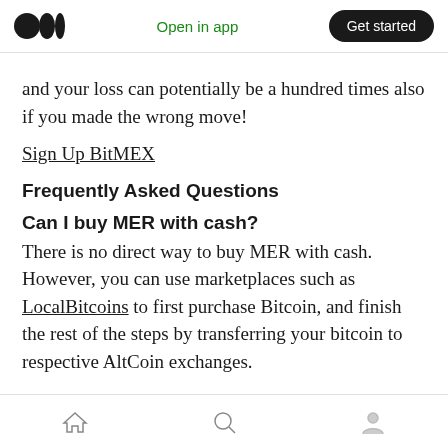Open in app | Get started
and your loss can potentially be a hundred times also if you made the wrong move!
Sign Up BitMEX
Frequently Asked Questions
Can I buy MER with cash?
There is no direct way to buy MER with cash. However, you can use marketplaces such as LocalBitcoins to first purchase Bitcoin, and finish the rest of the steps by transferring your bitcoin to respective AltCoin exchanges.
Home | Search | Profile